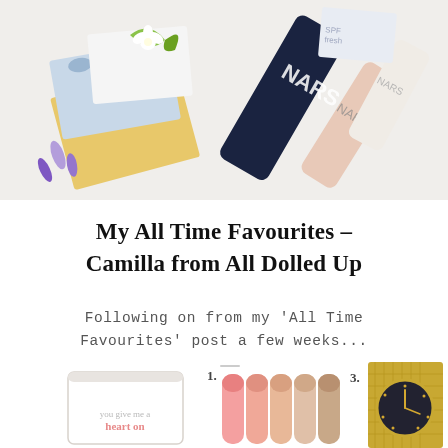[Figure (photo): Flat lay photo of beauty products including floral gift boxes, green ribbons, white flowers and NARS cosmetic tubes on a light background]
My All Time Favourites – Camilla from All Dolled Up
Following on from my 'All Time Favourites' post a few weeks...
[Figure (photo): Row of three product images: 1. White glass candle with text 'you give me a heart on', 2. Set of five pink and nude lip gloss tubes, 3. Gold mesh strap watch with black face and gold hands]